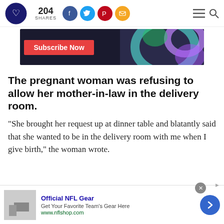204 SHARES — social share bar with Facebook, Twitter, Pinterest, Email icons; hamburger menu and search icon
[Figure (illustration): Subscribe Now banner advertisement with colorful pinwheel/wheel graphic on dark background]
The pregnant woman was refusing to allow her mother-in-law in the delivery room.
"She brought her request up at dinner table and blatantly said that she wanted to be in the delivery room with me when I give birth," the woman wrote.
[Figure (infographic): Bottom advertisement bar: Official NFL Gear — Get Your Favorite Team's Gear Here — www.nflshop.com, with close button and navigation arrow]